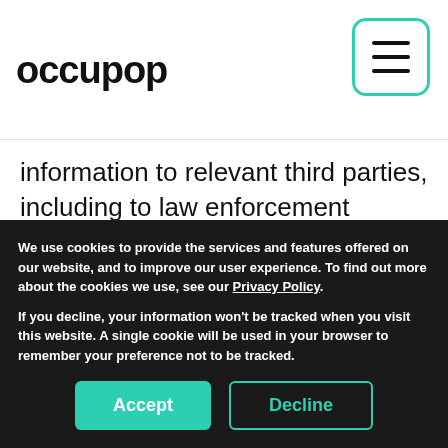occupop
information to relevant third parties, including to law enforcement agencies or your internet provider. We would only do so in circumstances where such disclosure is permitted under applicable laws, including Data Protection Legislation.
We use cookies to provide the services and features offered on our website, and to improve our user experience. To find out more about the cookies we use, see our Privacy Policy.
If you decline, your information won't be tracked when you visit this website. A single cookie will be used in your browser to remember your preference not to be tracked.